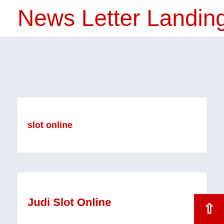News Letter Landing Pag
slot online
Judi Slot Online
kompas 138
slot online